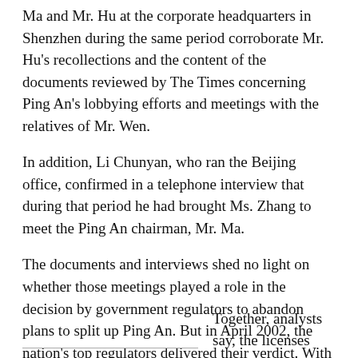Ma and Mr. Hu at the corporate headquarters in Shenzhen during the same period corroborate Mr. Hu's recollections and the content of the documents reviewed by The Times concerning Ping An's lobbying efforts and meetings with the relatives of Mr. Wen.
In addition, Li Chunyan, who ran the Beijing office, confirmed in a telephone interview that during that period he had brought Ms. Zhang to meet the Ping An chairman, Mr. Ma.
The documents and interviews shed no light on whether those meetings played a role in the decision by government regulators to abandon plans to split up Ping An. But in April 2002, the nation's top regulators delivered their verdict. With approval of the State Council and insurance regulators, Ping An began the process of transforming itself into a financial conglomerate.
The company was not only allowed to retain property and life insurance licenses, but also licenses that permitted it to operate a brokerage and a trust company. It was also allowed to obtain a bank license.
Together, analysts say, the licenses